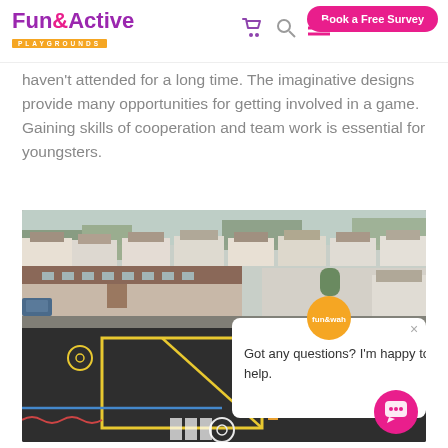Fun&Active Playgrounds | Book a Free Survey
haven't attended for a long time. The imaginative designs provide many opportunities for getting involved in a game. Gaining skills of cooperation and team work is essential for youngsters.
[Figure (photo): Aerial drone photograph of a school playground with painted ground markings showing tracks, circles, and game lines. Background shows suburban houses and school building with red roof.]
Got any questions? I'm happy to help.